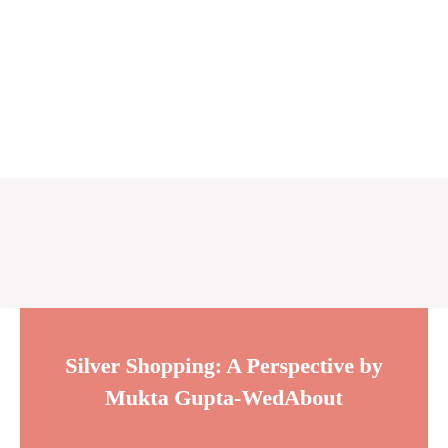[Figure (screenshot): Navigation bar with hamburger menu icon in teal/turquoise color on a light gray background]
LOGIN
Silver Shopping: A Perspective by Mukta Gupta-WedAbout